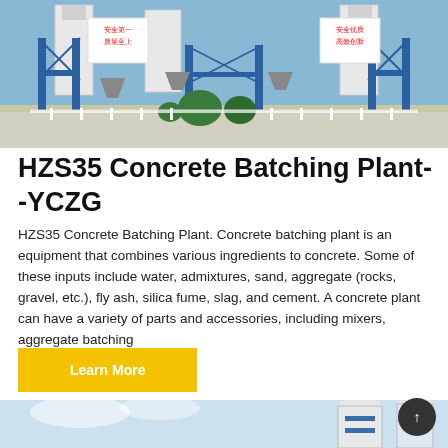[Figure (photo): Concrete batching plant facility with blue steel silos and structures, Chinese signage on buildings, green trees and paved area in foreground]
HZS35 Concrete Batching Plant--YCZG
HZS35 Concrete Batching Plant. Concrete batching plant is an equipment that combines various ingredients to concrete. Some of these inputs include water, admixtures, sand, aggregate (rocks, gravel, etc.), fly ash, silica fume, slag, and cement. A concrete plant can have a variety of parts and accessories, including mixers, aggregate batching
Learn More
[Figure (photo): Close-up of industrial silos — white and blue cylindrical storage tanks against a sky background]